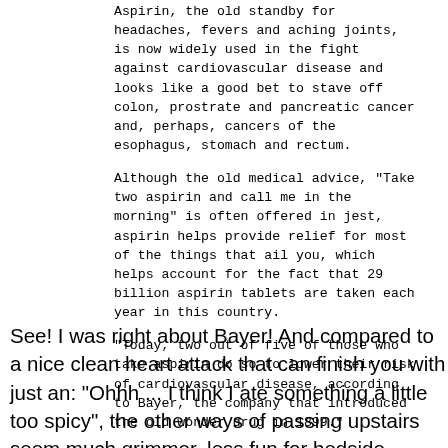Aspirin, the old standby for headaches, fevers and aching joints, is now widely used in the fight against cardiovascular disease and looks like a good bet to stave off colon, prostrate and pancreatic cancer and, perhaps, cancers of the esophagus, stomach and rectum.
Although the old medical advice, "Take two aspirin and call me in the morning" is often offered in jest, aspirin helps provide relief for most of the things that ail you, which helps account for the fact that 29 billion aspirin tablets are taken each year in this country.
"Today, two out of five of those who take aspirin do so to lower their risk of cardiovascular disease, according to Bayer, the company that introduced the old wonder drug in 1899."
See! I was right about Bayer! And compared to a nice clean heart attack that can finish you with just an: "Ohhh ... I think I ate something a little too spicy", the other ways of passing upstairs seem much grimmer, less fun for bedside relations and far more prolonged for the ones with